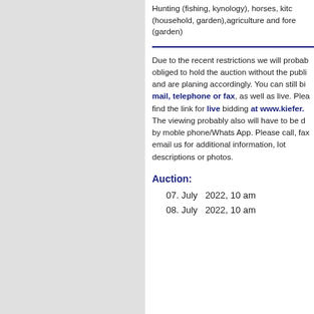Hunting (fishing, kynology), horses, kitc... (household, garden),agriculture and fore... (garden)
Due to the recent restrictions we will proba... obliged to hold the auction without the publi... and are planing accordingly. You can still bi... mail, telephone or fax, as well as live. Plea... find the link for live bidding at www.kiefer. The viewing probably also will have to be d... by moble phone/Whats App. Please call, fax... email us for additional information, lot descriptions or photos.
Auction:
07. July   2022, 10 am
08. July   2022, 10 am